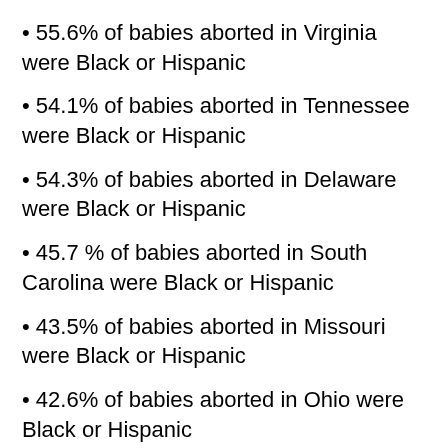• 55.6% of babies aborted in Virginia were Black or Hispanic
• 54.1% of babies aborted in Tennessee were Black or Hispanic
• 54.3% of babies aborted in Delaware were Black or Hispanic
• 45.7 % of babies aborted in South Carolina were Black or Hispanic
• 43.5% of babies aborted in Missouri were Black or Hispanic
• 42.6% of babies aborted in Ohio were Black or Hispanic
• 41.6% of babies aborted in Arkansas were Black or